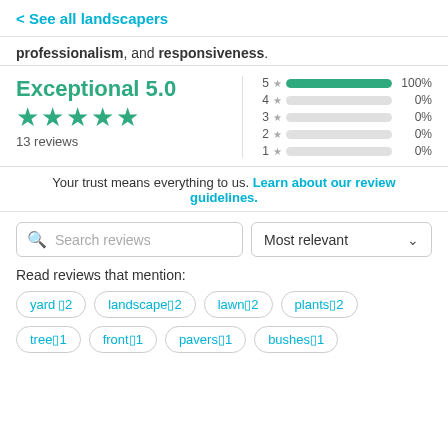< See all landscapers
professionalism, and responsiveness.
[Figure (infographic): Rating summary: Exceptional 5.0 with 5 stars and 13 reviews, plus bar chart showing 5★=100%, 4★=0%, 3★=0%, 2★=0%, 1★=0%]
Your trust means everything to us. Learn about our review guidelines.
Search reviews | Most relevant
Read reviews that mention:
yard 2
landscape 2
lawn 2
plants 2
tree 1
front 1
pavers 1
bushes 1